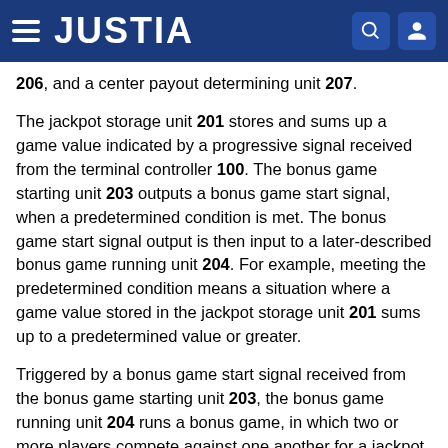JUSTIA
206, and a center payout determining unit 207.
The jackpot storage unit 201 stores and sums up a game value indicated by a progressive signal received from the terminal controller 100. The bonus game starting unit 203 outputs a bonus game start signal, when a predetermined condition is met. The bonus game start signal output is then input to a later-described bonus game running unit 204. For example, meeting the predetermined condition means a situation where a game value stored in the jackpot storage unit 201 sums up to a predetermined value or greater.
Triggered by a bonus game start signal received from the bonus game starting unit 203, the bonus game running unit 204 runs a bonus game, in which two or more players compete against one another for a jackpot through the gaming terminals.